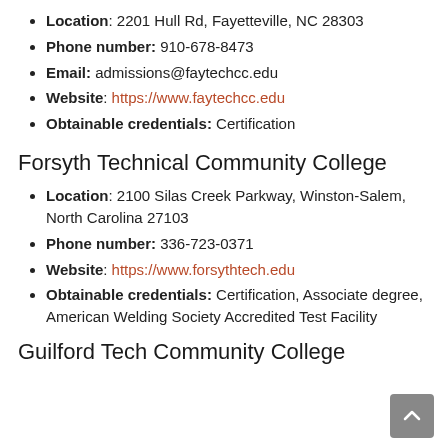Location: 2201 Hull Rd, Fayetteville, NC 28303
Phone number: 910-678-8473
Email: admissions@faytechcc.edu
Website: https://www.faytechcc.edu
Obtainable credentials: Certification
Forsyth Technical Community College
Location: 2100 Silas Creek Parkway, Winston-Salem, North Carolina 27103
Phone number: 336-723-0371
Website: https://www.forsythtech.edu
Obtainable credentials: Certification, Associate degree, American Welding Society Accredited Test Facility
Guilford Tech Community College